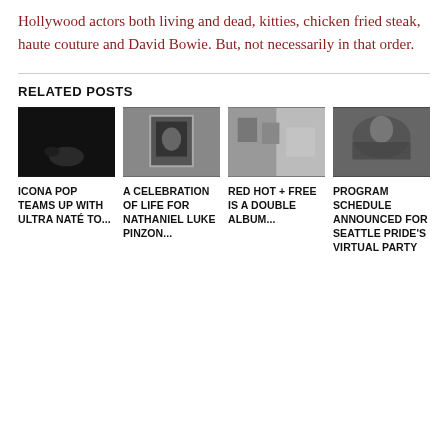Hollywood actors both living and dead, kitties, chicken fried steak, haute couture and David Bowie. But, not necessarily in that order.
RELATED POSTS
[Figure (photo): Dark, nearly black concert or event photo]
[Figure (photo): Grayscale photo of person with framed picture]
[Figure (photo): Grayscale collage or event photo with people and bottles]
[Figure (photo): Grayscale photo of crowd or event with sign in background]
ICONA POP TEAMS UP WITH ULTRA NATÉ TO...
A CELEBRATION OF LIFE FOR NATHANIEL LUKE PINZON...
RED HOT + FREE IS A DOUBLE ALBUM...
PROGRAM SCHEDULE ANNOUNCED FOR SEATTLE PRIDE'S VIRTUAL PARTY